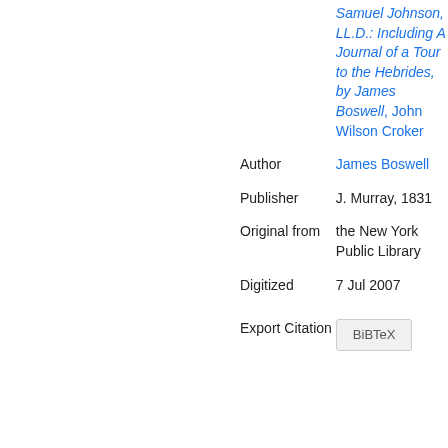| Field | Value |
| --- | --- |
|  | Samuel Johnson, LL.D.: Including A Journal of a Tour to the Hebrides, by James Boswell, John Wilson Croker |
| Author | James Boswell |
| Publisher | J. Murray, 1831 |
| Original from | the New York Public Library |
| Digitized | 7 Jul 2007 |
| Export Citation | BiBTeX |